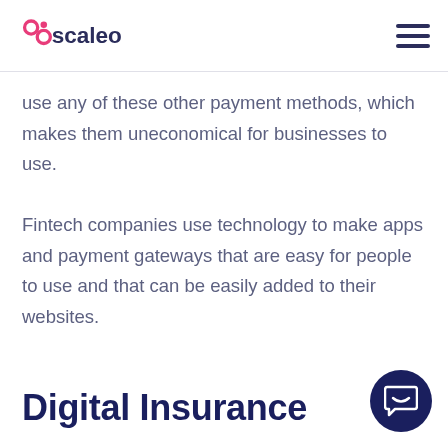scaleo
use any of these other payment methods, which makes them uneconomical for businesses to use.
Fintech companies use technology to make apps and payment gateways that are easy for people to use and that can be easily added to their websites.
Digital Insurance